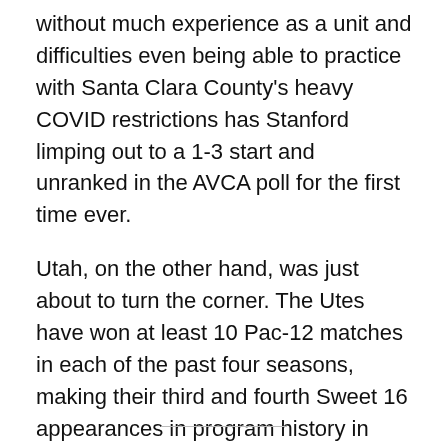without much experience as a unit and difficulties even being able to practice with Santa Clara County's heavy COVID restrictions has Stanford limping out to a 1-3 start and unranked in the AVCA poll for the first time ever.
Utah, on the other hand, was just about to turn the corner. The Utes have won at least 10 Pac-12 matches in each of the past four seasons, making their third and fourth Sweet 16 appearances in program history in 2017 and 2019, respectively (first since 2008). With chaos at Stanford and significant turnover at most other top Pac-12 programs (including Washington), the veteran Utes were picked by the coaches to win the conference and are off to an 8-0 start, earning their highest AVCA ranking in program history at seventh.